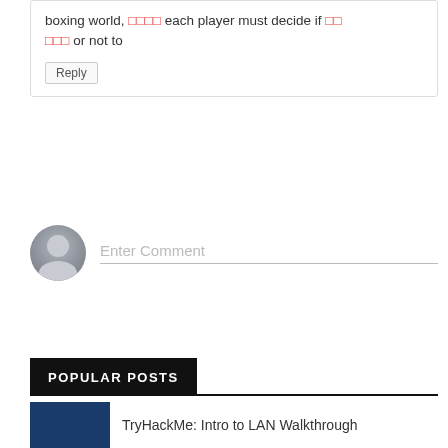boxing world, □□□□ each player must decide if □□ □□□ or not to
Reply
[Figure (illustration): Default user avatar circle with silhouette icon]
Enter Comment
POPULAR POSTS
TryHackMe: Intro to LAN Walkthrough